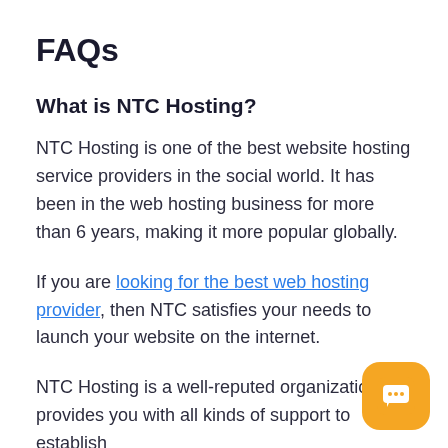FAQs
What is NTC Hosting?
NTC Hosting is one of the best website hosting service providers in the social world. It has been in the web hosting business for more than 6 years, making it more popular globally.
If you are looking for the best web hosting provider, then NTC satisfies your needs to launch your website on the internet.
NTC Hosting is a well-reputed organization provides you with all kinds of support to establish
[Figure (illustration): Orange rounded square chat button with three dots speech bubble icon in white, positioned bottom-right corner]